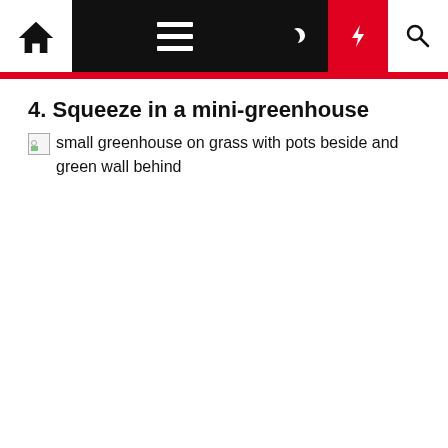Navigation bar with home, menu, moon, lightning, and search icons
4. Squeeze in a mini-greenhouse
[Figure (photo): Broken image placeholder with alt text: small greenhouse on grass with pots beside and green wall behind]